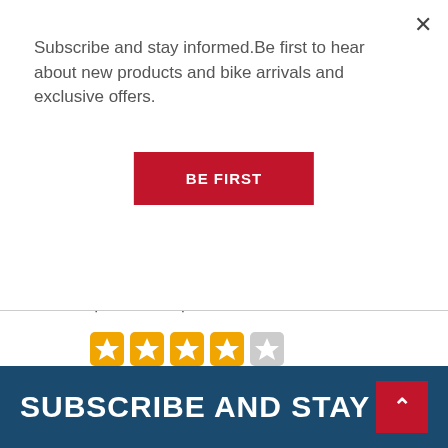Subscribe and stay informed.Be first to hear about new products and bike arrivals and exclusive offers.
×
BE FIRST
$25.99 - $49.99
[Figure (other): Star rating: 4 filled orange stars and 1 empty gray star]
1 Review
Page 1 of 1
SUBSCRIBE AND STAY